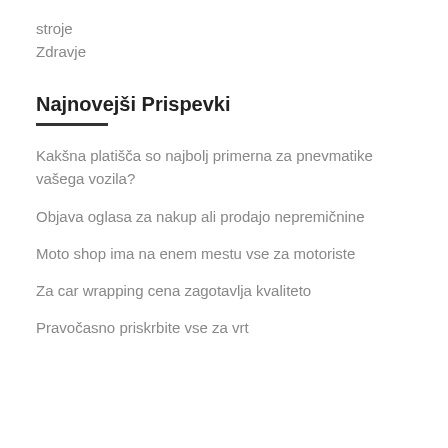stroje
Zdravje
Najnovejši Prispevki
Kakšna platišča so najbolj primerna za pnevmatike vašega vozila?
Objava oglasa za nakup ali prodajo nepremičnine
Moto shop ima na enem mestu vse za motoriste
Za car wrapping cena zagotavlja kvaliteto
Pravočasno priskrbite vse za vrt